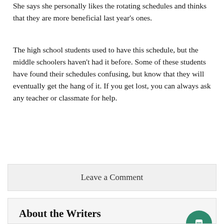She says she personally likes the rotating schedules and thinks that they are more beneficial last year's ones.
The high school students used to have this schedule, but the middle schoolers haven't had it before. Some of these students have found their schedules confusing, but know that they will eventually get the hang of it. If you get lost, you can always ask any teacher or classmate for help.
Leave a Comment
About the Writers
[Figure (photo): Photo of Amy Yip in a school hallway with lockers in background]
Amy Yip, Editor in Chief
Amy Yip, sophmore in